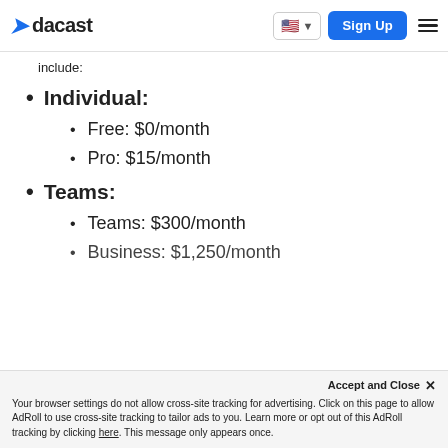dacast | Sign Up
include:
Individual:
Free: $0/month
Pro: $15/month
Teams:
Teams: $300/month
Business: $1,250/month
Your browser settings do not allow cross-site tracking for advertising. Click on this page to allow AdRoll to use cross-site tracking to tailor ads to you. Learn more or opt out of this AdRoll tracking by clicking here. This message only appears once.